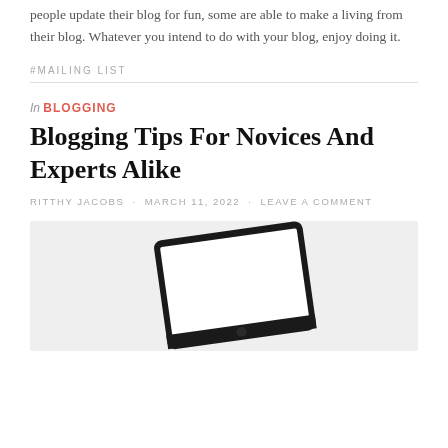people update their blog for fun, some are able to make a living from their blog. Whatever you intend to do with your blog, enjoy doing it.
#MAILING LIST
In BLOGGING
Blogging Tips For Novices And Experts Alike
RITTHY JACOBS · MARCH 11, 2022 · LEAVE A COMMENT
[Figure (photo): A tablet device shown on a light grey background, tilted at an angle, displaying a blank white screen.]